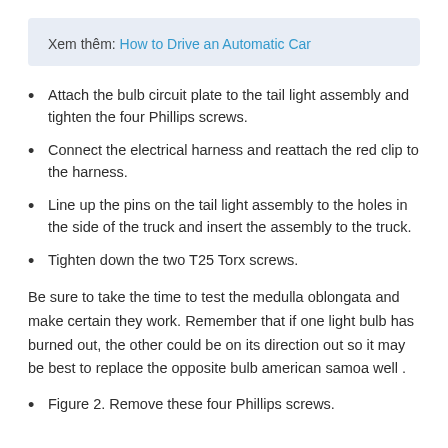Xem thêm: How to Drive an Automatic Car
Attach the bulb circuit plate to the tail light assembly and tighten the four Phillips screws.
Connect the electrical harness and reattach the red clip to the harness.
Line up the pins on the tail light assembly to the holes in the side of the truck and insert the assembly to the truck.
Tighten down the two T25 Torx screws.
Be sure to take the time to test the medulla oblongata and make certain they work. Remember that if one light bulb has burned out, the other could be on its direction out so it may be best to replace the opposite bulb american samoa well .
Figure 2. Remove these four Phillips screws.